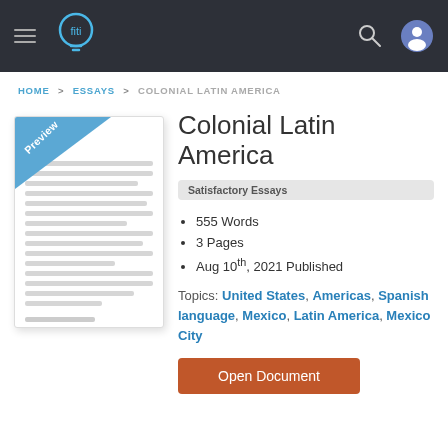Navigation bar with hamburger menu, logo, search icon, user icon
HOME > ESSAYS > COLONIAL LATIN AMERICA
Colonial Latin America
Satisfactory Essays
555 Words
3 Pages
Aug 10th, 2021 Published
Topics: United States, Americas, Spanish language, Mexico, Latin America, Mexico City
[Figure (illustration): Preview thumbnail of a document with a blue diagonal banner labeled 'Preview' in the top-left corner]
Open Document